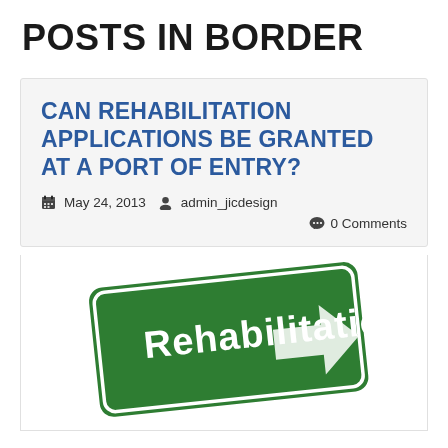POSTS IN BORDER
CAN REHABILITATION APPLICATIONS BE GRANTED AT A PORT OF ENTRY?
May 24, 2013  admin_jicdesign
0 Comments
[Figure (photo): Green road sign reading 'Rehabilitation' with a white arrow pointing right]